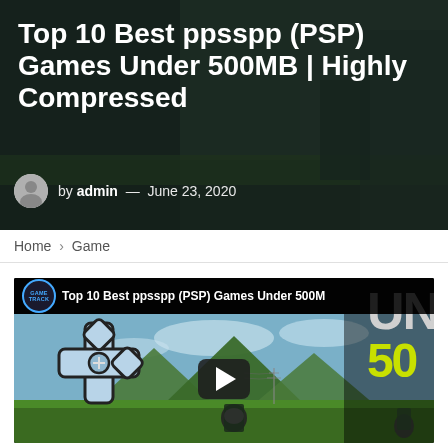Top 10 Best ppsspp (PSP) Games Under 500MB | Highly Compressed
by admin — June 23, 2020
Home > Game
[Figure (screenshot): YouTube video thumbnail showing 'Top 10 Best ppsspp (PSP) Games Under 500MB' with PPSSPP cross logo on left, game scene with soldiers and landscape in background, play button in center, and large text 'UN' and '50' on the right side. Channel name GAMETRACK shown in top bar.]